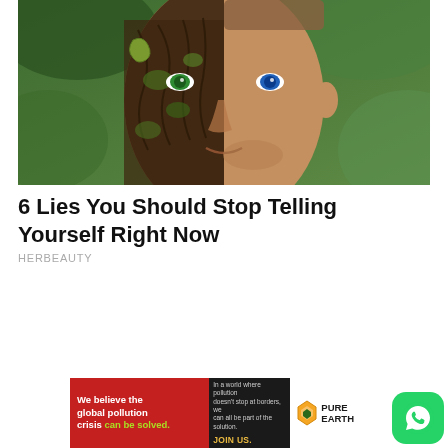[Figure (photo): Split-face composite image: left half shows a tree bark/nature texture face with a green eye, right half shows a real human male face with a blue eye, set against a green bokeh background]
6 Lies You Should Stop Telling Yourself Right Now
HERBEAUTY
[Figure (infographic): Pure Earth advertisement banner: red left section with text 'We believe the global pollution crisis can be solved.' in white and green, center dark section with small text and JOIN US in yellow, right white section with Pure Earth logo with diamond/chevron icon]